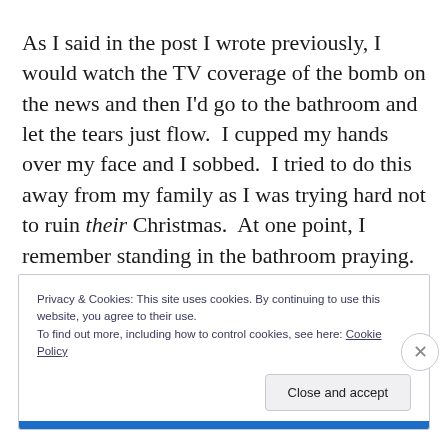As I said in the post I wrote previously, I would watch the TV coverage of the bomb on the news and then I'd go to the bathroom and let the tears just flow.  I cupped my hands over my face and I sobbed.  I tried to do this away from my family as I was trying hard not to ruin their Christmas.  At one point, I remember standing in the bathroom praying.  Praying and crying.  I cried out to God for help and I bared my soul to him.  I told Him I couldn't
Privacy & Cookies: This site uses cookies. By continuing to use this website, you agree to their use.
To find out more, including how to control cookies, see here: Cookie Policy
Close and accept